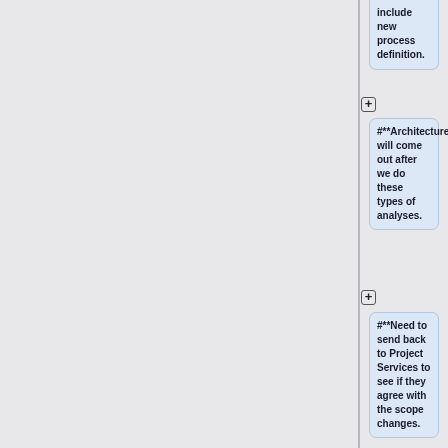include new process definition.
#**Architecture will come out after we do these types of analyses.
#**Need to send back to Project Services to see if they agree with the scope changes.
#**Calvin moves approval conditional on Project Services' acceptance, seconded by